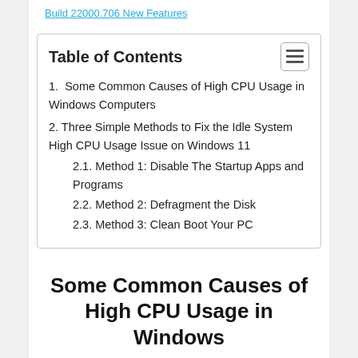Build 22000.706 New Features
1. Some Common Causes of High CPU Usage in Windows Computers
2. Three Simple Methods to Fix the Idle System High CPU Usage Issue on Windows 11
2.1. Method 1: Disable The Startup Apps and Programs
2.2. Method 2: Defragment the Disk
2.3. Method 3: Clean Boot Your PC
Some Common Causes of High CPU Usage in Windows